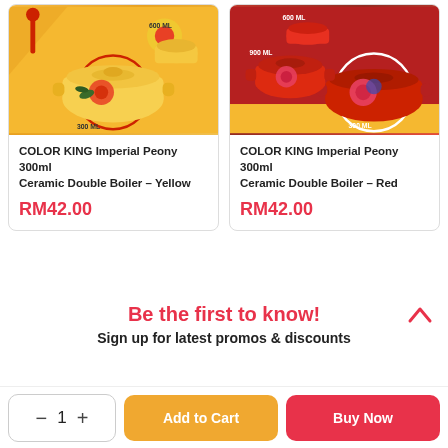[Figure (photo): Product image of COLOR KING Imperial Peony 300ml Ceramic Double Boiler - Yellow, shown on yellow background with red circle highlight]
COLOR KING Imperial Peony 300ml Ceramic Double Boiler – Yellow
RM42.00
[Figure (photo): Product image of COLOR KING Imperial Peony 300ml Ceramic Double Boiler - Red, shown on red/yellow background with white circle highlight]
COLOR KING Imperial Peony 300ml Ceramic Double Boiler – Red
RM42.00
Be the first to know!
Sign up for latest promos & discounts
- 1 + Add to Cart Buy Now